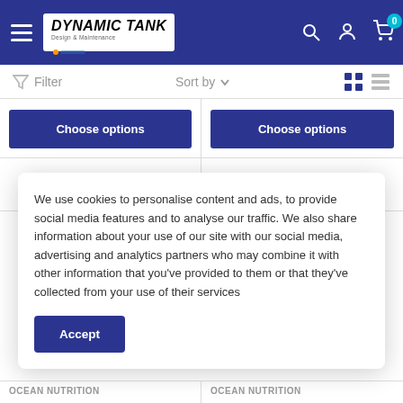Dynamic Tank Design & Maintenance — navigation header with hamburger menu, logo, search, account, and cart icons
Filter  Sort by
[Figure (screenshot): Two product cards each with a blue 'Choose options' button]
[Figure (photo): Two partial product images — one white/grey item on left, one purple item on right]
We use cookies to personalise content and ads, to provide social media features and to analyse our traffic. We also share information about your use of our site with our social media, advertising and analytics partners who may combine it with other information that you've provided to them or that they've collected from your use of their services
Accept
OCEAN NUTRITION   OCEAN NUTRITION